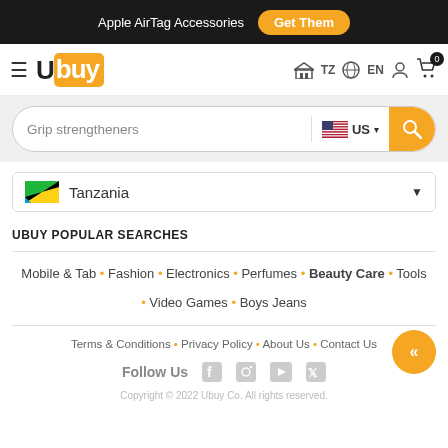Apple AirTag Accessories  Get Them
[Figure (logo): Ubuy logo with hamburger menu and navigation icons (TZ, EN, user, cart with 0)]
Grip strengtheners  US (search bar with US flag)
Tanzania (country selector dropdown)
UBUY POPULAR SEARCHES
Mobile & Tab • Fashion • Electronics • Perfumes • Beauty Care • Tools • Video Games • Boys Jeans
Terms & Conditions • Privacy Policy • About Us • Contact Us
Follow Us  (Facebook, Instagram, YouTube, Twitter icons)
Copyright © 2022 Ubuy Co. All rights reserved.